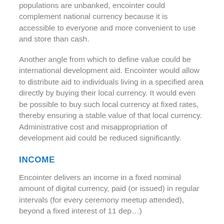populations are unbanked, encointer could complement national currency because it is accessible to everyone and more convenient to use and store than cash.
Another angle from which to define value could be international development aid. Encointer would allow to distribute aid to individuals living in a specified area directly by buying their local currency. It would even be possible to buy such local currency at fixed rates, thereby ensuring a stable value of that local currency. Administrative cost and misappropriation of development aid could be reduced significantly.
INCOME
Encointer delivers an income in a fixed nominal amount of digital currency, paid (or issued) in regular intervals (for every ceremony meetup attended), beyond a fixed interest of 11 dep…)